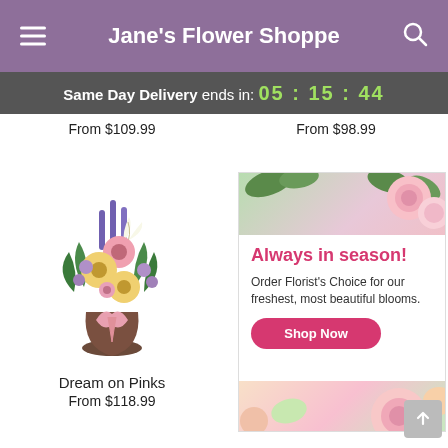Jane's Flower Shoppe
Same Day Delivery ends in: 05 : 15 : 44
From $109.99
From $98.99
[Figure (photo): Flower bouquet called Dream on Pinks in a brown vase with pink ribbon, featuring purple, yellow, pink and white flowers]
Dream on Pinks
From $118.99
[Figure (infographic): Advertisement banner with pink roses and green leaves. Text: Always in season! Order Florist's Choice for our freshest, most beautiful blooms. Shop Now button.]